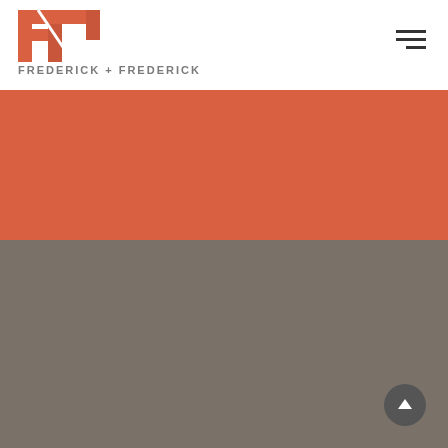[Figure (logo): Frederick + Frederick law firm logo: geometric F-shaped icon in orange/salmon color, with text FREDERICK + FREDERICK below in gray spaced capitals]
[Figure (other): Hamburger menu icon (three horizontal lines, third line shorter)]
[Figure (other): Orange/salmon colored banner band]
What To Expect
[Figure (other): Scroll-to-top circular button with upward chevron arrow]